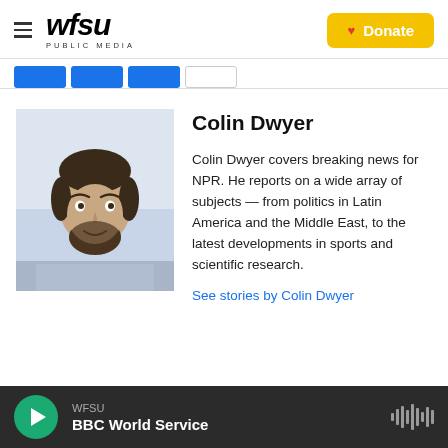WFSU PUBLIC MEDIA — Donate
[Figure (photo): Profile photo of Colin Dwyer, a man with dark hair and a beard wearing a light blue checked shirt, photographed against a blurred light background]
Colin Dwyer
Colin Dwyer covers breaking news for NPR. He reports on a wide array of subjects — from politics in Latin America and the Middle East, to the latest developments in sports and scientific research.
See stories by Colin Dwyer
WFSU — BBC World Service